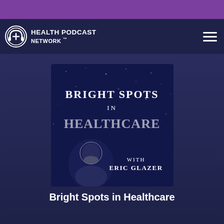[Figure (logo): Health Podcast Network logo with headphone/cross icon and text HEALTH PODCAST NETWORK TM]
[Figure (illustration): Bright Spots in Healthcare podcast cover art featuring the show title text and host Eric Glazer with a starry night sky background]
Bright Spots in Healthcare